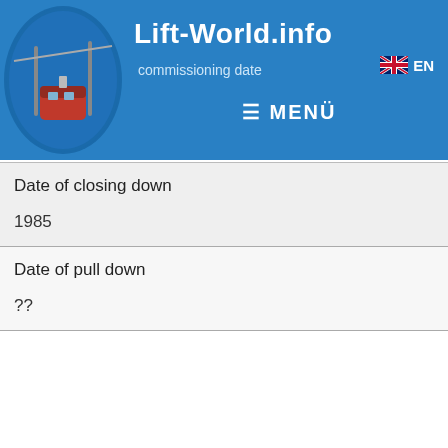Lift-World.info
commissioning date
EN
≡ MENÜ
| Date of closing down |
| 1985 |
| Date of pull down |
| ?? |